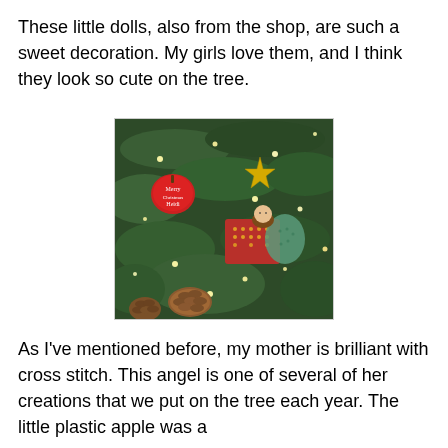These little dolls, also from the shop, are such a sweet decoration. My girls love them, and I think they look so cute on the tree.
[Figure (photo): A close-up photograph of a Christmas tree with decorations including a cross-stitch angel ornament, a red apple ornament labeled 'Merry Christmas Heidi', a gold star, pine cones, and twinkling lights among green branches.]
As I've mentioned before, my mother is brilliant with cross stitch. This angel is one of several of her creations that we put on the tree each year. The little plastic apple was a